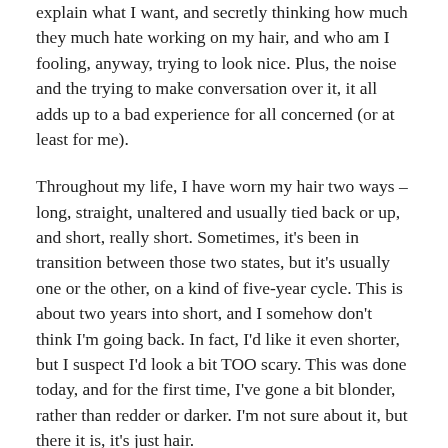explain what I want, and secretly thinking how much they much hate working on my hair, and who am I fooling, anyway, trying to look nice. Plus, the noise and the trying to make conversation over it, it all adds up to a bad experience for all concerned (or at least for me).
Throughout my life, I have worn my hair two ways – long, straight, unaltered and usually tied back or up, and short, really short. Sometimes, it's been in transition between those two states, but it's usually one or the other, on a kind of five-year cycle. This is about two years into short, and I somehow don't think I'm going back. In fact, I'd like it even shorter, but I suspect I'd look a bit TOO scary. This was done today, and for the first time, I've gone a bit blonder, rather than redder or darker. I'm not sure about it, but there it is, it's just hair.